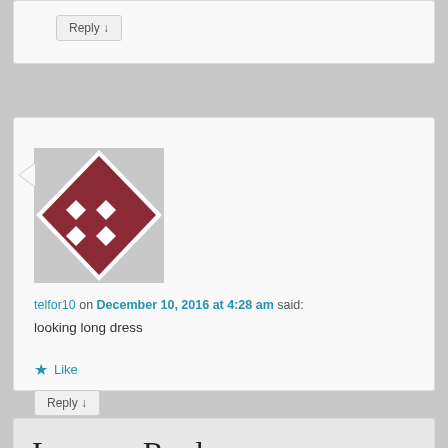Reply ↓
[Figure (illustration): Avatar image: a dark red square rotated 45 degrees with four white diamond shapes arranged in a 2x2 grid pattern, resembling a button]
telfor10 on December 10, 2016 at 4:28 am said:
looking long dress
★ Like
Reply ↓
Leave a Reply
Your email address will not be published. Required fields are marked *